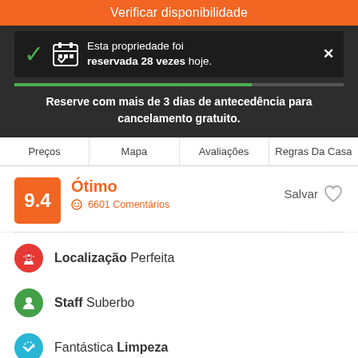Verificar disponibilidade
Esta propriedade foi reservada 28 vezes hoje.
Reserve com mais de 3 dias de antecedência para cancelamento gratuito.
Preços  Mapa  Avaliações  Regras Da Casa
9.4
Ótimo
6601 Comentários
Salvar
Localização Perfeita
Staff Suberbo
Fantástica Limpeza
PLEASE READ CAREFULLY (CONDITIONS BELOW):